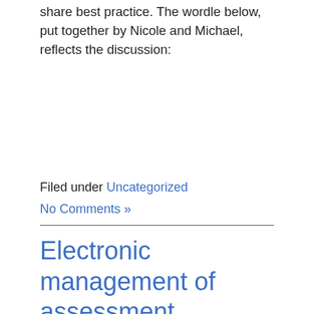share best practice. The wordle below, put together by Nicole and Michael, reflects the discussion:
Filed under Uncategorized
No Comments »
Electronic management of assessment
By Stefanie D Anyadi, on 14 December 2014
Last week, I went along to the JISC workshop looking at Electronic Management of Assessment. Great to meet